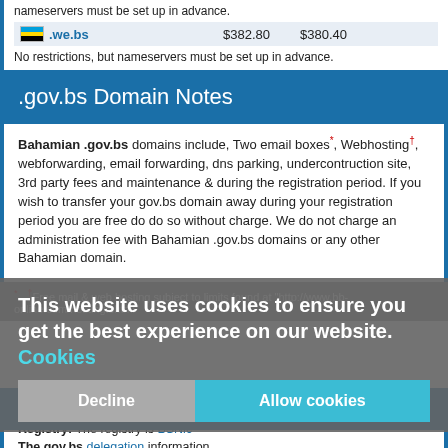nameservers must be set up in advance.
| .we.bs | $382.80 | $380.40 |
| --- | --- | --- |
No restrictions, but nameservers must be set up in advance.
.gov.bs Domain Notes
Bahamian .gov.bs domains include, Two email boxes*, Webhosting†, webforwarding, email forwarding, dns parking, underconstruction site, 3rd party fees and maintenance & during the registration period. If you wish to transfer your gov.bs domain away during your registration period you are free do do so without charge. We do not charge an administration fee with Bahamian .gov.bs domains or any other Bahamian domain.
* - †Free mail & web hosting subject to limits found at "http://www.bb-online.com/hosting.shtml"
.gov.bs Registry Information
Registry: The registry is BSNic
The gov.bs delegation information.